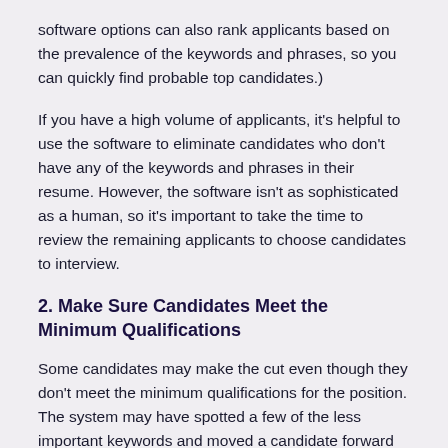software options can also rank applicants based on the prevalence of the keywords and phrases, so you can quickly find probable top candidates.)
If you have a high volume of applicants, it's helpful to use the software to eliminate candidates who don't have any of the keywords and phrases in their resume. However, the software isn't as sophisticated as a human, so it's important to take the time to review the remaining applicants to choose candidates to interview.
2. Make Sure Candidates Meet the Minimum Qualifications
Some candidates may make the cut even though they don't meet the minimum qualifications for the position. The system may have spotted a few of the less important keywords and moved a candidate forward even though they don't meet the requirements.